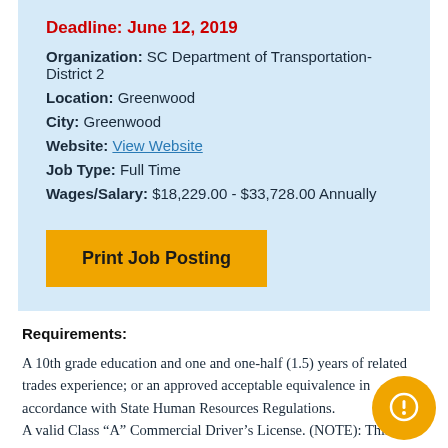Deadline: June 12, 2019
Organization: SC Department of Transportation-District 2
Location: Greenwood
City: Greenwood
Website: View Website
Job Type: Full Time
Wages/Salary: $18,229.00 - $33,728.00 Annually
[Figure (other): Orange 'Print Job Posting' button]
Requirements:
A 10th grade education and one and one-half (1.5) years of related trades experience; or an approved acceptable equivalence in accordance with State Human Resources Regulations.
A valid Class “A” Commercial Driver’s License. (NOTE): This position requires a valid Class “A” Commercial Driver’s License